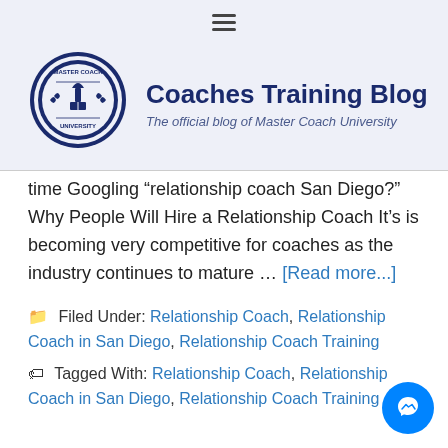[Figure (logo): Coaches Training Blog logo: circular badge with Master Coach University text and torch/book emblem, next to blog title and subtitle]
time Googling “relationship coach San Diego?” Why People Will Hire a Relationship Coach It’s is becoming very competitive for coaches as the industry continues to mature … [Read more...]
Filed Under: Relationship Coach, Relationship Coach in San Diego, Relationship Coach Training
Tagged With: Relationship Coach, Relationship Coach in San Diego, Relationship Coach Training